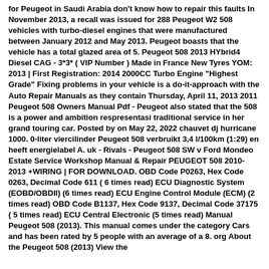for Peugeot in Saudi Arabia don't know how to repair this faults In November 2013, a recall was issued for 288 Peugeot W2 508 vehicles with turbo-diesel engines that were manufactured between January 2012 and May 2013. Peugeot boasts that the vehicle has a total glazed area of 5. Peugeot 508 2013 HYbrid4 Diesel CAG - 3*3* ( VIP Number ) Made in France New Tyres YOM: 2013 | First Registration: 2014 2000CC Turbo Engine "Highest Grade" Fixing problems in your vehicle is a do-it-approach with the Auto Repair Manuals as they contain Thursday, April 11, 2013 2011 Peugeot 508 Owners Manual Pdf - Peugeot also stated that the 508 is a power and ambition respresentasi traditional service in her grand touring car. Posted by on May 22, 2022 chauvet dj hurricane 1000. 0-liter viercilinder Peugeot 508 verbruikt 3,4 l/100km (1:29) en heeft energielabel A. uk - Rivals - Peugeot 508 SW v Ford Mondeo Estate Service Workshop Manual & Repair PEUGEOT 508 2010-2013 +WIRING | FOR DOWNLOAD. OBD Code P0263, Hex Code 0263, Decimal Code 611 ( 6 times read) ECU Diagnostic System (EOBD/OBDII) (6 times read) ECU Engine Control Module (ECM) (2 times read) OBD Code B1137, Hex Code 9137, Decimal Code 37175 ( 5 times read) ECU Central Electronic (5 times read) Manual Peugeot 508 (2013). This manual comes under the category Cars and has been rated by 5 people with an average of a 8. org About the Peugeot 508 (2013) View the